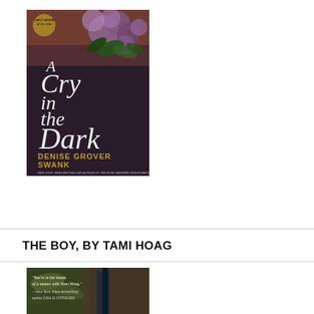[Figure (photo): Book cover of 'A Cry in the Dark' by Denise Grover Swank. Dark background with purple lilac flowers, gold and white serif title text, gold author name at bottom. Badge reads 'Carly Moore Book One'. Subtitle: New York Times Bestselling Author of the Rose Gardner Investigations.]
THE BOY, BY TAMI HOAG
[Figure (photo): Book cover of 'The Boy' by Tami Hoag. Dark moody image with foliage and what appears to be a wooden structure. Quote text: 'You're in the hands of a master with Tami Hoag.' —New York Times bestselling author Lisa Scottoline.]